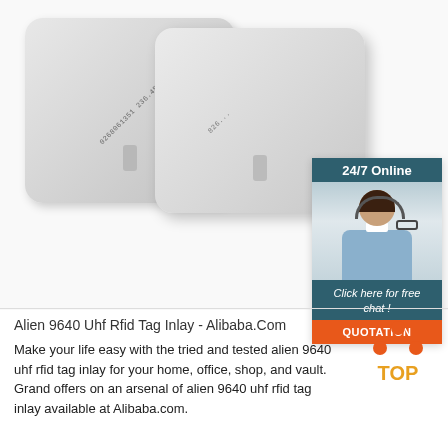[Figure (photo): Two white RFID card tags (Alien 9640 UHF) shown at an angle, one behind the other, with serial numbers printed on them. Overlaid in the top-right corner is a customer service widget showing a woman with a headset, labeled '24/7 Online', with a teal header, a call-to-action 'Click here for free chat!', and an orange 'QUOTATION' button.]
Alien 9640 Uhf Rfid Tag Inlay - Alibaba.Com
Make your life easy with the tried and tested alien 9640 uhf rfid tag inlay for your home, office, shop, and vault. Grand offers on an arsenal of alien 9640 uhf rfid tag inlay available at Alibaba.com.
[Figure (logo): TOP logo — orange triangular dots arranged in a triangle above the word TOP in orange/gold letters]